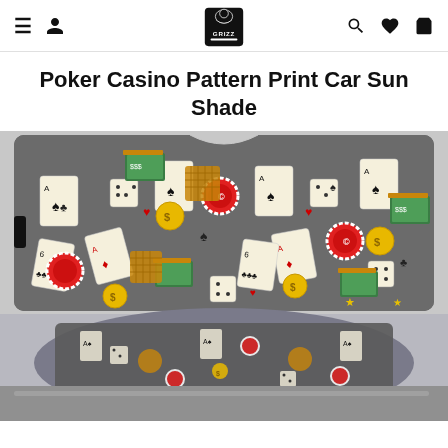Grizz store navigation header with logo
Poker Casino Pattern Print Car Sun Shade
[Figure (photo): Product photo of a car sun shade featuring a poker casino pattern with playing cards, dice, casino chips, money stacks, and coins on a dark grey background. Two views shown: the flat sun shade and the sun shade installed on a car windshield.]